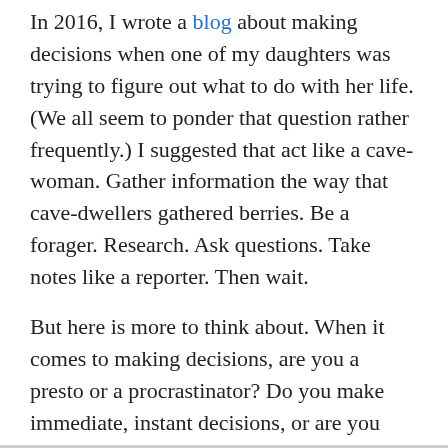In 2016, I wrote a blog about making decisions when one of my daughters was trying to figure out what to do with her life. (We all seem to ponder that question rather frequently.) I suggested that act like a cave-woman. Gather information the way that cave-dwellers gathered berries. Be a forager. Research. Ask questions. Take notes like a reporter. Then wait.
But here is more to think about. When it comes to making decisions, are you a presto or a procrastinator? Do you make immediate, instant decisions, or are you afraid your decisions won't be perfect so you procrastinate?
I confess I'm a presto decision-maker. I err on the side of making an instant decision and then rue about it. I know I need to s-l-o-o-o-w way down.